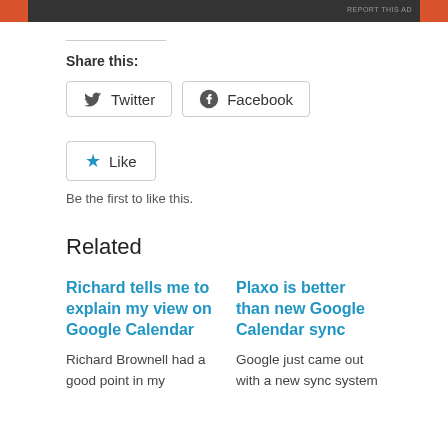[Figure (screenshot): Ad banner with dark grey background and orange accent bars on left and right edges. 'REPORT THIS AD' text in small grey letters near top right.]
Share this:
Twitter  Facebook
Like
Be the first to like this.
Related
Richard tells me to explain my view on Google Calendar
Richard Brownell had a good point in my
Plaxo is better than new Google Calendar sync
Google just came out with a new sync system